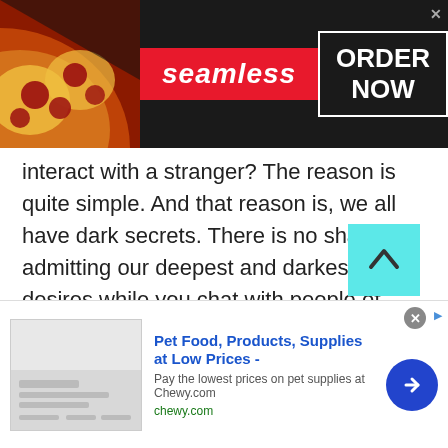[Figure (screenshot): Top advertisement banner for Seamless food ordering service with pizza image on left, red Seamless badge in center, and ORDER NOW button in white border box on right]
interact with a stranger? The reason is quite simple. And that reason is, we all have dark secrets. There is no shame in admitting our deepest and darkest desires while you chat with people of Gibraltar. However, we cannot express these deepest and darkest desires to any of our close ones. Say, for instance, you might have a crush on your girl-best friends. Can you tell your other friends about it? No. You will not even tell you that best friend whom you have a crush on.
[Figure (screenshot): Bottom advertisement for Chewy.com pet food and supplies with product image on left, ad text in center, and blue arrow button on right. Close button (x) in gray circle at top right.]